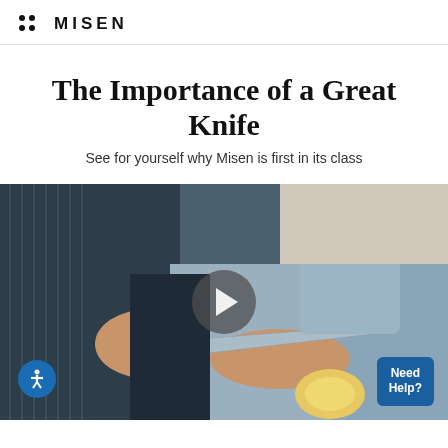MISEN
The Importance of a Great Knife
See for yourself why Misen is first in its class
[Figure (photo): A person in a striped apron holding a Misen knife, cutting a vegetable on a cutting board. A play button overlay indicates this is a video thumbnail. An accessibility icon is in the bottom left and a 'Need Help?' button is in the bottom right.]